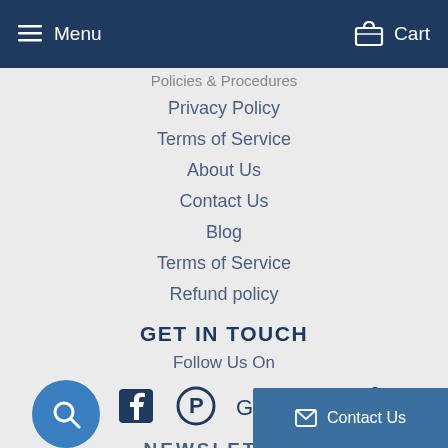Menu   Cart
Policies & Procedures
Privacy Policy
Terms of Service
About Us
Contact Us
Blog
Terms of Service
Refund policy
GET IN TOUCH
Follow Us On
[Figure (infographic): Row of six social media icons: Twitter, Facebook, Pinterest, Google+, Instagram, and a popsicle/other icon in dark navy blue]
NEWSLETTER
Contact Us